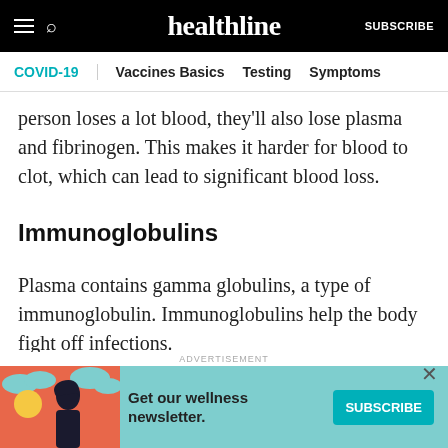healthline — SUBSCRIBE
COVID-19 | Vaccines Basics   Testing   Symptoms
person loses a lot blood, they'll also lose plasma and fibrinogen. This makes it harder for blood to clot, which can lead to significant blood loss.
Immunoglobulins
Plasma contains gamma globulins, a type of immunoglobulin. Immunoglobulins help the body fight off infections.
Electrolytes
[Figure (illustration): Advertisement banner with woman illustration: Get our wellness newsletter. SUBSCRIBE button.]